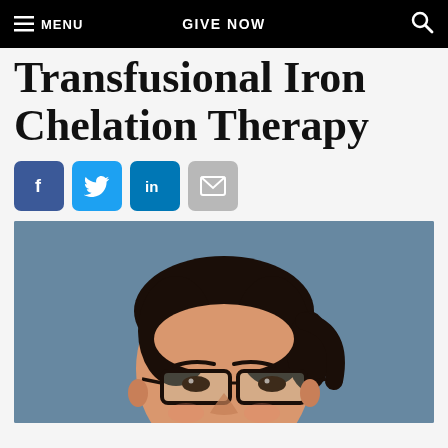MENU   GIVE NOW
Transfusional Iron Chelation Therapy
[Figure (illustration): Social media sharing icons: Facebook (blue), Twitter (light blue), LinkedIn (blue), Email (gray)]
[Figure (photo): Professional headshot of a smiling Asian woman with dark hair pulled back, wearing black-rimmed glasses, against a blue-gray background]